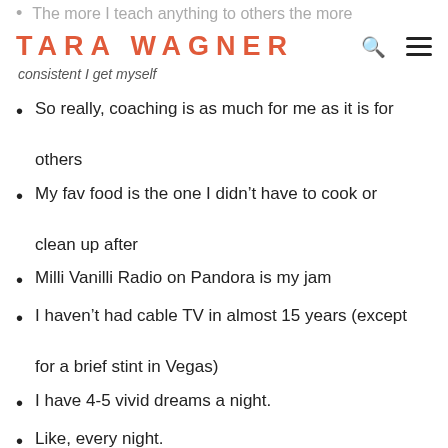The more I teach anything to others the more
TARA WAGNER
consistent I get myself
So really, coaching is as much for me as it is for others
My fav food is the one I didn’t have to cook or clean up after
Milli Vanilli Radio on Pandora is my jam
I haven’t had cable TV in almost 15 years (except for a brief stint in Vegas)
I have 4-5 vivid dreams a night.
Like, every night.
French fries are my guilty pleasure.